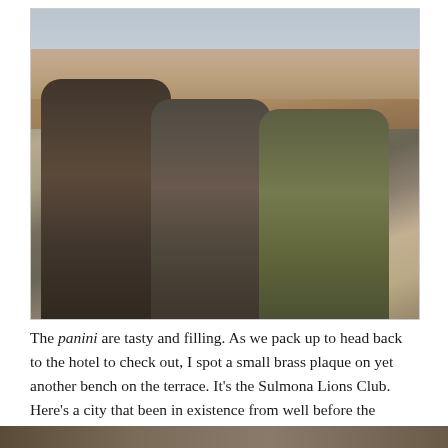[Figure (photo): Three teenage boys sitting outdoors on a sunny day, wearing winter jackets. Behind them is an Italian piazza with colorful buildings. The boy on the left wears a dark puffer jacket with fur-trimmed hood, the middle boy wears a grey jacket, and the right boy wears an olive/green jacket with a blue backpack.]
The panini are tasty and filling. As we pack up to head back to the hotel to check out, I spot a small brass plaque on yet another bench on the terrace. It's the Sulmona Lions Club. Here's a city that been in existence from well before the Coliseum days of the Christians versus the Lions to the small-world of global networking and the Lions Club.